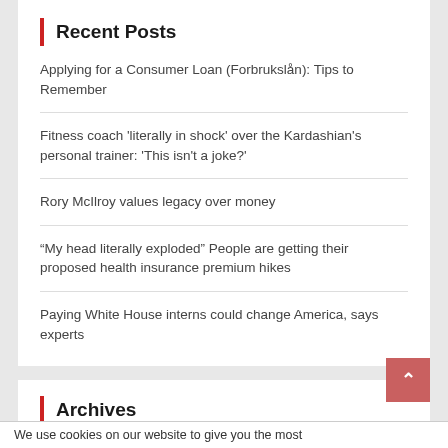Recent Posts
Applying for a Consumer Loan (Forbrukslån): Tips to Remember
Fitness coach 'literally in shock' over the Kardashian's personal trainer: 'This isn't a joke?'
Rory McIlroy values legacy over money
“My head literally exploded” People are getting their proposed health insurance premium hikes
Paying White House interns could change America, says experts
Archives
July 2022
We use cookies on our website to give you the most